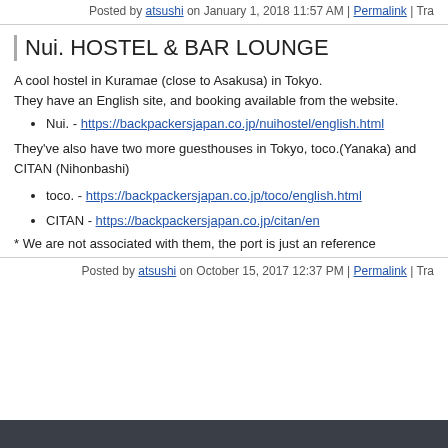Posted by atsushi on January 1, 2018 11:57 AM | Permalink | Tra...
Nui. HOSTEL & BAR LOUNGE
A cool hostel in Kuramae (close to Asakusa) in Tokyo.
They have an English site, and booking available from the website.
Nui. - https://backpackersjapan.co.jp/nuihostel/english.html
They've also have two more guesthouses in Tokyo, toco.(Yanaka) and CITAN (Nihonbashi)
toco. - https://backpackersjapan.co.jp/toco/english.html
CITAN - https://backpackersjapan.co.jp/citan/en
* We are not associated with them, the port is just an reference
Posted by atsushi on October 15, 2017 12:37 PM | Permalink | Tra...